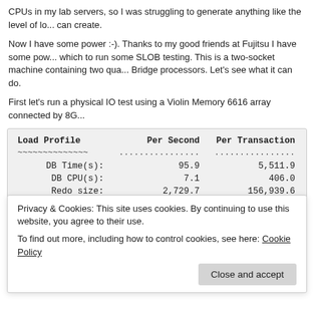CPUs in my lab servers, so I was struggling to generate anything like the level of lo... can create.
Now I have some power :-). Thanks to my good friends at Fujitsu I have some pow... which to run some SLOB testing. This is a two-socket machine containing two qua... Bridge processors. Let's see what it can do.
First let's run a physical IO test using a Violin Memory 6616 array connected by 8G...
| Load Profile | Per Second | Per Transaction |
| --- | --- | --- |
| DB Time(s): | 95.9 | 5,511.9 |
| DB CPU(s): | 7.1 | 406.0 |
| Redo size: | 2,729.7 | 156,939.6 |
| Logical reads: | 192,361.2 | 11,059,614.8 |
| Block changes: | 6.0 | 347.5 |
| Physical reads: | 100,430.7 | 10,001,430.4 |
Privacy & Cookies: This site uses cookies. By continuing to use this website, you agree to their use. To find out more, including how to control cookies, see here: Cookie Policy
Close and accept